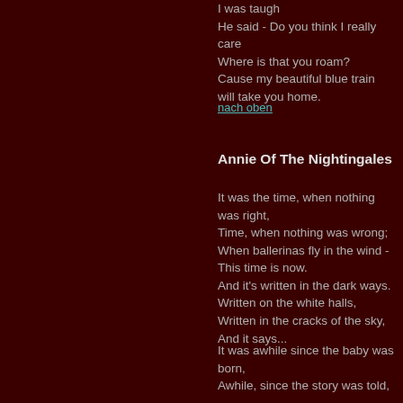I was taugh
He said - Do you think I really care
Where is that you roam?
Cause my beautiful blue train will take you home.
nach oben
Annie Of The Nightingales
It was the time, when nothing was right,
Time, when nothing was wrong;
When ballerinas fly in the wind -
This time is now.
And it's written in the dark ways.
Written on the white halls,
Written in the cracks of the sky,
And it says...
It was awhile since the baby was born,
Awhile, since the story was told,